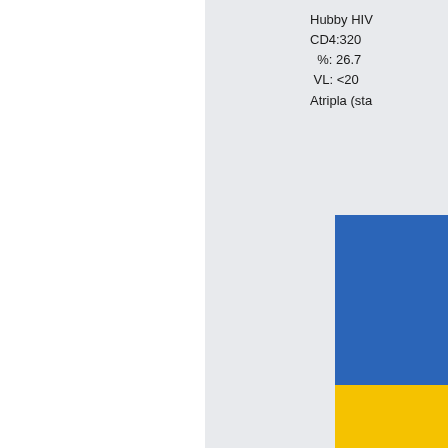[Figure (other): Partial screenshot of a medical/health tracking interface showing a panel with HIV patient information (Hubby HIV, CD4:320, %: 26.7, VL: <20, Atripla (sta...) and a stacked bar chart with blue and yellow sections visible on the right side of the page. Left portion is white background, right portion has light gray background.]